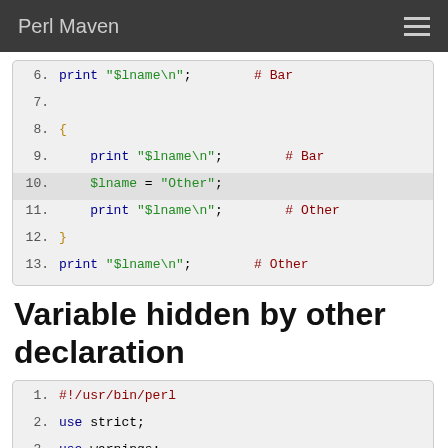Perl Maven
[Figure (screenshot): Perl code block showing lines 6-13 with syntax highlighting. Lines show print statements and variable assignment with $lname, comments show # Bar and # Other]
Variable hidden by other declaration
[Figure (screenshot): Perl code block showing lines 1-5 beginning with #!/usr/bin/perl, use strict, use warnings, blank line 4, and my $fname = 'Foo';]